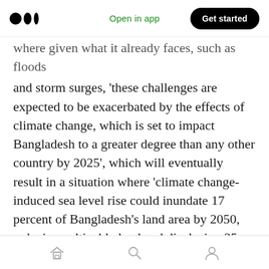Medium app navigation bar: logo | Open in app | Get started
where given what it already faces, such as floods and storm surges, 'these challenges are expected to be exacerbated by the effects of climate change, which is set to impact Bangladesh to a greater degree than any other country by 2025', which will eventually result in a situation where 'climate change-induced sea level rise could inundate 17 percent of Bangladesh's land area by 2050, reducing cultivable land and displacing 35 million people'. In Latin America, there is evidence that climate change has contributed to pandemics of dengue fever in countries such as Bolivia, Honduras and Peru, which confirm the
Home | Search | Profile